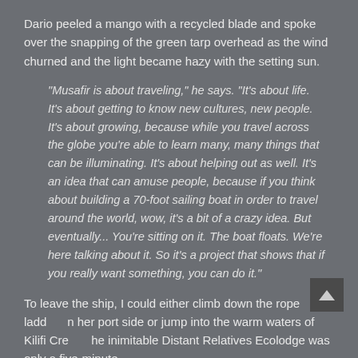Dario peeled a mango with a recycled blade and spoke over the snapping of the green tarp overhead as the wind churned and the light became hazy with the setting sun.
"Musafir is about traveling," he says. "It's about life. It's about getting to know new cultures, new people. It's about growing, because while you travel across the globe you're able to learn many, many things that can be illuminating. It's about helping out as well. It's an idea that can amuse people, because if you think about building a 70-foot sailing boat in order to travel around the world, wow, it's a bit of a crazy idea. But eventually... You're sitting on it. The boat floats. We're here talking about it. So it's a project that shows that if you really want something, you can do it."
To leave the ship, I could either climb down the rope ladder on her port side or jump into the warm waters of Kilifi Creek; the inimitable Distant Relatives Ecolodge was only a five-minute